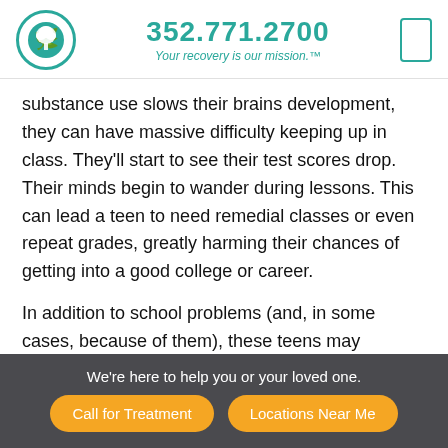352.771.2700 — Your recovery is our mission.™
substance use slows their brains development, they can have massive difficulty keeping up in class. They'll start to see their test scores drop. Their minds begin to wander during lessons. This can lead a teen to need remedial classes or even repeat grades, greatly harming their chances of getting into a good college or career.
In addition to school problems (and, in some cases, because of them), these teens may develop dangerous behaviors and habits. These can include unsafe sex, criminal behavior and the increasing risk of doing more
We're here to help you or your loved one. | Call for Treatment | Locations Near Me